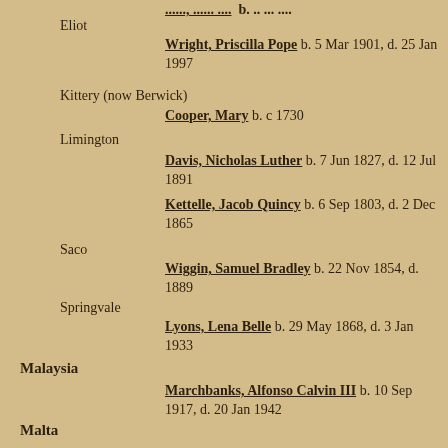[partial] ... b. ... d. ... (top, cut off)
Eliot
Wright, Priscilla Pope  b. 5 Mar 1901, d. 25 Jan 1997
Kittery (now Berwick)
Cooper, Mary  b. c 1730
Limington
Davis, Nicholas Luther  b. 7 Jun 1827, d. 12 Jul 1891
Kettelle, Jacob Quincy  b. 6 Sep 1803, d. 2 Dec 1865
Saco
Wiggin, Samuel Bradley  b. 22 Nov 1854, d. 1889
Springvale
Lyons, Lena Belle  b. 29 May 1868, d. 3 Jan 1933
Malaysia
Marchbanks, Alfonso Calvin III  b. 10 Sep 1917, d. 20 Jan 1942
Malta
Rix, George Campbell  b. 8 Sep 1918, d. 9 Apr 1942
Floriana